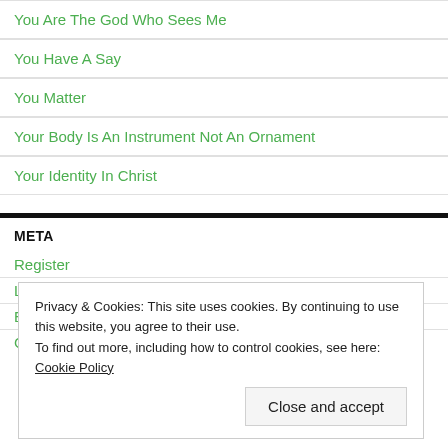You Are The God Who Sees Me
You Have A Say
You Matter
Your Body Is An Instrument Not An Ornament
Your Identity In Christ
META
Register
L
B
C
Privacy & Cookies: This site uses cookies. By continuing to use this website, you agree to their use.
To find out more, including how to control cookies, see here: Cookie Policy
Close and accept